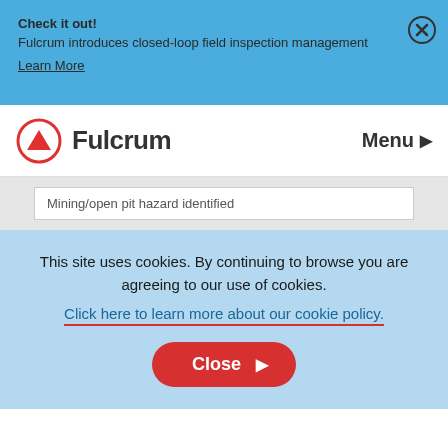Check it out!
Fulcrum introduces closed-loop field inspection management
Learn More
[Figure (logo): Fulcrum logo with red circle and upward triangle, with text 'Fulcrum']
Menu ▶
Mining/open pit hazard identified
This site uses cookies. By continuing to browse you are agreeing to our use of cookies.
Click here to learn more about our cookie policy.
Close ▶